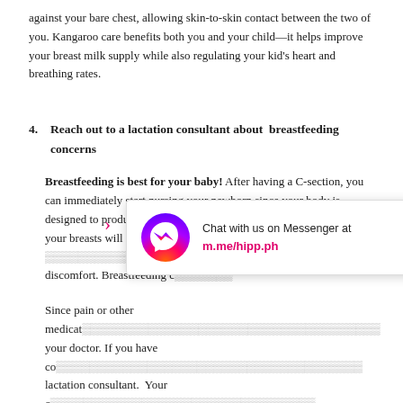against your bare chest, allowing skin-to-skin contact between the two of you. Kangaroo care benefits both you and your child—it helps improve your breast milk supply while also regulating your kid's heart and breathing rates.
4. Reach out to a lactation consultant about breastfeeding concerns
Breastfeeding is best for your baby! After having a C-section, you can immediately start nursing your newborn since your body is designed to produce milk right after delivery. After a couple of days, your breasts will be filled with milk, and the... discomfort. Breastfeeding c...
[Figure (other): Facebook Messenger chat widget overlay with messenger icon and text 'Chat with us on Messenger at m.me/hipp.ph']
Since pain or other medica... your doctor. If you have co... lactation consultant. Your c... breastfeeding concerns and make healthy recommendations for your child.
5. Eat a balanced diet
Your body needs proper nutrition to promote healing and recovery after surgery. Go for meals that consist of whole grains, protein, fruits, and